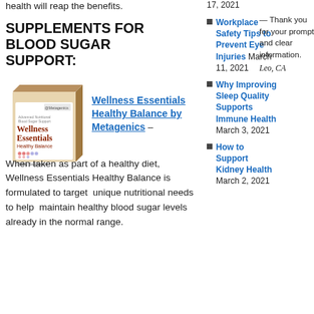health will reap the benefits.
SUPPLEMENTS FOR BLOOD SUGAR SUPPORT:
[Figure (photo): Box of Wellness Essentials Healthy Balance by Metagenics supplement product]
Wellness Essentials Healthy Balance by Metagenics – When taken as part of a healthy diet, Wellness Essentials Healthy Balance is formulated to target  unique nutritional needs to help  maintain healthy blood sugar levels already in the normal range.
Workplace Safety Tips to Prevent Eye Injuries March 11, 2021
Why Improving Sleep Quality Supports Immune Health March 3, 2021
How to Support Kidney Health March 2, 2021
— Thank you for your prompt and clear information. Leo, CA
17, 2021